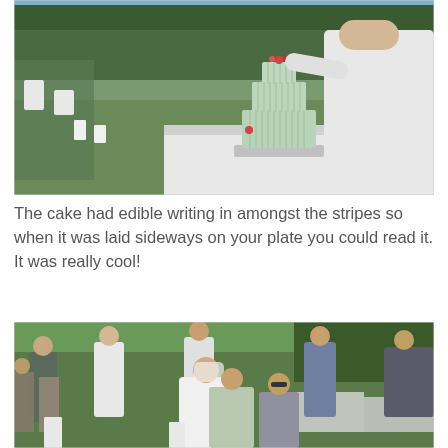[Figure (photo): Outdoor wedding cake cutting scene. A woman in white dress stands next to a multi-tier mint green wedding cake on a silver stand, reaching toward the top of the cake. Wedding guests visible in background seated at tables on green lawn.]
The cake had edible writing in amongst the stripes so when it was laid sideways on your plate you could read it. It was really cool!
[Figure (photo): Outdoor wedding reception dance scene. Bride in white dress dancing with groom and wedding party members on the lawn. Several groomsmen in white shirts and men in suits surrounding the couple. Guests and white chairs visible in background.]